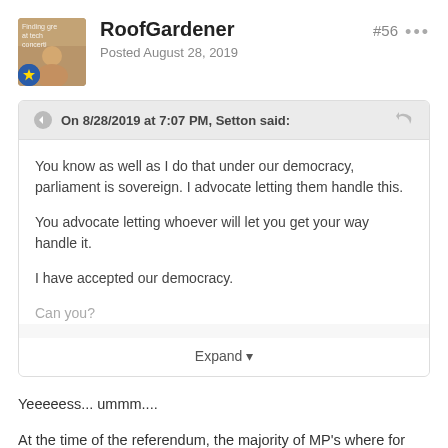RoofGardener
Posted August 28, 2019
#56
On 8/28/2019 at 7:07 PM, Setton said:
You know as well as I do that under our democracy, parliament is sovereign. I advocate letting them handle this.

You advocate letting whoever will let you get your way handle it.

I have accepted our democracy.

Can you?
Expand
Yeeeeess... ummm....
At the time of the referendum, the majority of MP's where for Remain.
They showed that - by an admittedly tight majority - that they where out of touch with the wishes of the British People.